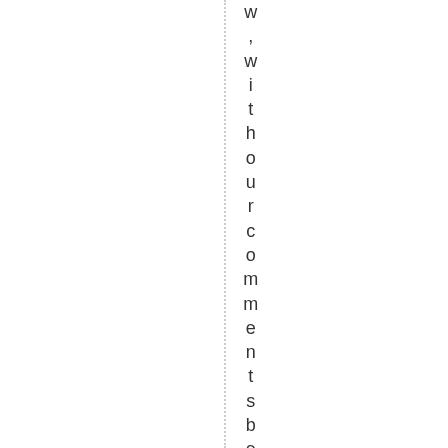w ,withourcommentsbelo wthat... Le